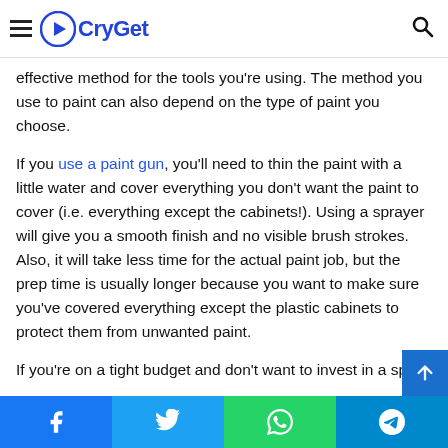CryGet
effective method for the tools you're using. The method you use to paint can also depend on the type of paint you choose.
If you use a paint gun, you'll need to thin the paint with a little water and cover everything you don't want the paint to cover (i.e. everything except the cabinets!). Using a sprayer will give you a smooth finish and no visible brush strokes. Also, it will take less time for the actual paint job, but the prep time is usually longer because you want to make sure you've covered everything except the plastic cabinets to protect them from unwanted paint.
If you're on a tight budget and don't want to invest in a spra…